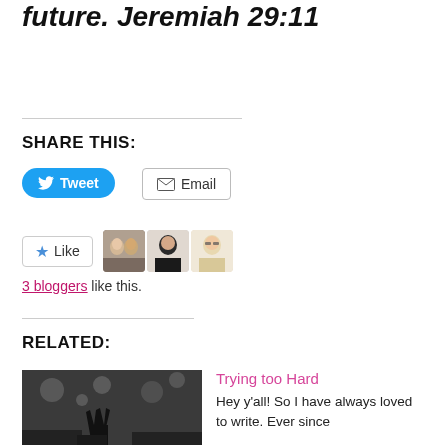future.  Jeremiah 29:11
SHARE THIS:
[Figure (other): Tweet button (Twitter bird icon + 'Tweet' text, blue rounded button)]
[Figure (other): Email button (envelope icon + 'Email' text, outlined button)]
[Figure (other): Like widget with star icon and Like text, followed by three blogger avatar thumbnails]
3 bloggers like this.
RELATED:
[Figure (photo): Black and white photo showing a crowd with raised hand in foreground and blurred lights in background]
Trying too Hard
Hey y'all! So I have always loved to write. Ever since